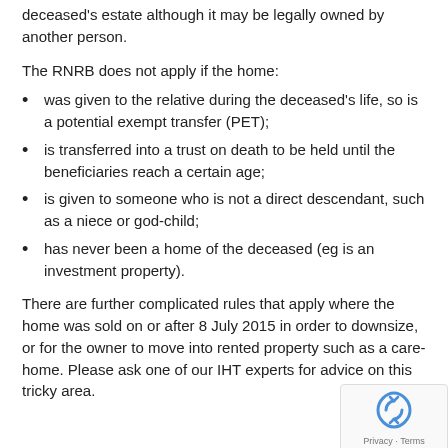deceased's estate although it may be legally owned by another person.
The RNRB does not apply if the home:
was given to the relative during the deceased's life, so is a potential exempt transfer (PET);
is transferred into a trust on death to be held until the beneficiaries reach a certain age;
is given to someone who is not a direct descendant, such as a niece or god-child;
has never been a home of the deceased (eg is an investment property).
There are further complicated rules that apply where the home was sold on or after 8 July 2015 in order to downsize, or for the owner to move into rented property such as a care-home. Please ask one of our IHT experts for advice on this tricky area.